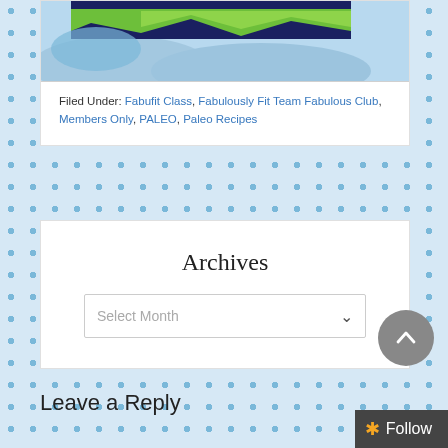[Figure (illustration): Partial banner image with dark blue, green, and light blue colors visible at top of card]
Filed Under: Fabufit Class, Fabulously Fit Team Fabulous Club, Members Only, PALEO, Paleo Recipes
Archives
Select Month
Leave a Reply